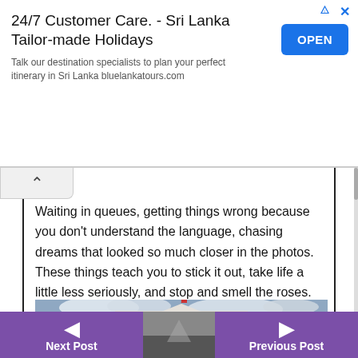[Figure (screenshot): Advertisement banner for bluelankatours.com: '24/7 Customer Care. - Sri Lanka Tailor-made Holidays' with an OPEN button and triangular ad icon]
Waiting in queues, getting things wrong because you don't understand the language, chasing dreams that looked so much closer in the photos. These things teach you to stick it out, take life a little less seriously, and stop and smell the roses.
[Figure (photo): Photograph of a large neoclassical white building with columns, domed towers, and flags, likely the Archaeological Museum of Macedonia in Skopje, with statues in the foreground and a cloudy sky.]
Next Post   Previous Post